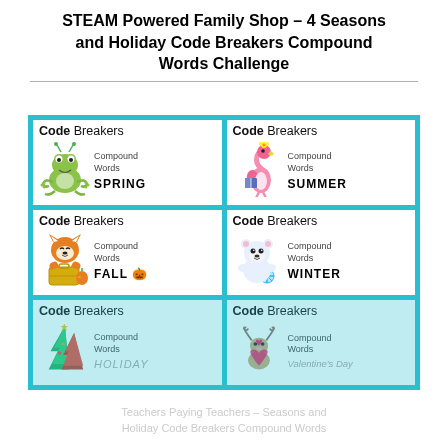STEAM Powered Family Shop – 4 Seasons and Holiday Code Breakers Compound Words Challenge
[Figure (illustration): 2x3 grid of Code Breakers Compound Words educational cards on teal background. Cards show: Spring (frog), Summer (flamingo), Fall (fox), Winter (polar bear), Holiday (Christmas trees), Valentine's Day (moose in heart costume).]
Teachers Paying Teachers – Seasons and Holiday Code Breakers Compound Words